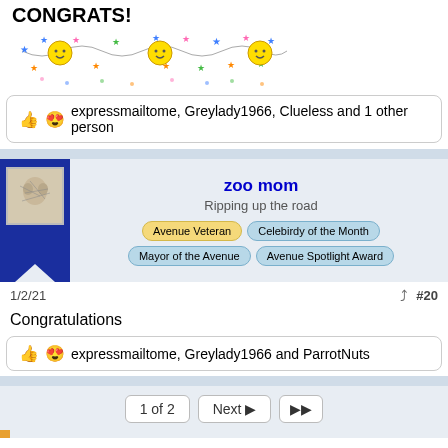CONGRATS!
[Figure (illustration): Colorful celebration banner with smiley faces and multicolored stars on strings]
expressmailtome, Greylady1966, Clueless and 1 other person
[Figure (infographic): User profile card for 'zoo mom' with status 'Ripping up the road' and badges: Avenue Veteran, Celebirdy of the Month, Mayor of the Avenue, Avenue Spotlight Award]
1/2/21
#20
Congratulations
expressmailtome, Greylady1966 and ParrotNuts
1 of 2  Next ▶  ▶▶